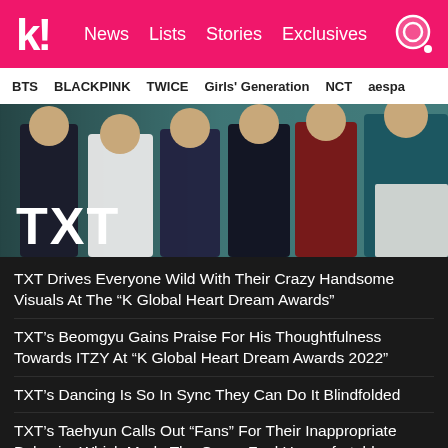k! News  Lists  Stories  Exclusives
BTS  BLACKPINK  TWICE  Girls' Generation  NCT  aespa
[Figure (photo): Group photo of TXT members standing against a teal wall, wearing various outfits including white track jacket, dark clothes, burgundy sweatshirt, and teal top. Large white text 'TXT' overlaid at bottom left.]
TXT Drives Everyone Wild With Their Crazy Handsome Visuals At The “K Global Heart Dream Awards”
TXT’s Beomgyu Gains Praise For His Thoughtfulness Towards ITZY At “K Global Heart Dream Awards 2022”
TXT’s Dancing Is So In Sync They Can Do It Blindfolded
TXT’s Taehyun Calls Out “Fans” For Their Inappropriate Behavior Which Made The Group Feel Uncomfortable
See more TXT